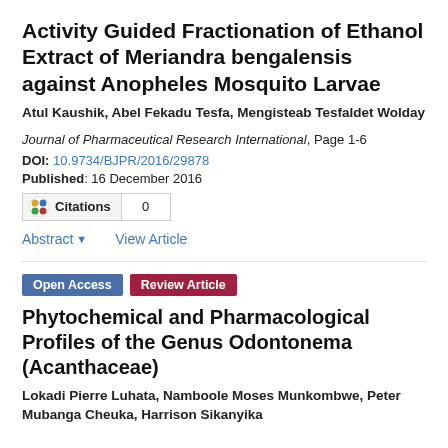Activity Guided Fractionation of Ethanol Extract of Meriandra bengalensis against Anopheles Mosquito Larvae
Atul Kaushik, Abel Fekadu Tesfa, Mengisteab Tesfaldet Wolday
Journal of Pharmaceutical Research International, Page 1-6
DOI: 10.9734/BJPR/2016/29878
Published: 16 December 2016
Citations 0
Abstract ▾    View Article
Open Access  Review Article
Phytochemical and Pharmacological Profiles of the Genus Odontonema (Acanthaceae)
Lokadi Pierre Luhata, Namboole Moses Munkombwe, Peter Mubanga Cheuka, Harrison Sikanyika